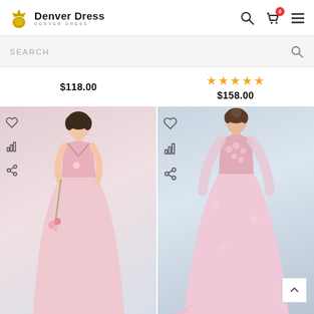[Figure (logo): Denver Dress logo with golden crown/onion icon and brand name]
SEARCH
$118.00
★★★★★ $158.00
[Figure (photo): Woman wearing a pink sleeveless A-line gown holding flowers, with heart, chart, and share icons on the left]
[Figure (photo): Woman wearing a pink long-sleeve lace applique gown, with heart, chart, and share icons on the left]